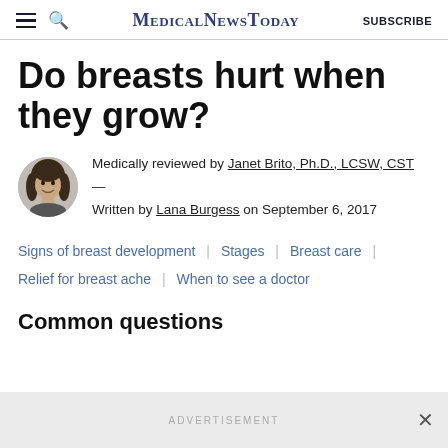MedicalNewsToday  SUBSCRIBE
Do breasts hurt when they grow?
Medically reviewed by Janet Brito, Ph.D., LCSW, CST — Written by Lana Burgess on September 6, 2017
Signs of breast development | Stages | Breast care | Relief for breast ache | When to see a doctor
Common questions
ADVERTISEMENT